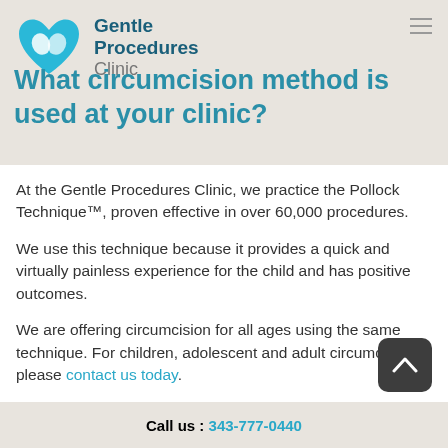[Figure (logo): Gentle Procedures Clinic logo with blue heart and hands icon and clinic name]
What circumcision method is used at your clinic?
At the Gentle Procedures Clinic, we practice the Pollock Technique™, proven effective in over 60,000 procedures.
We use this technique because it provides a quick and virtually painless experience for the child and has positive outcomes.
We are offering circumcision for all ages using the same technique. For children, adolescent and adult circumcision please contact us today.
For full detail on our circumcision method using the Pollock Technique™ please see the Ci...
Call us : 343-777-0440